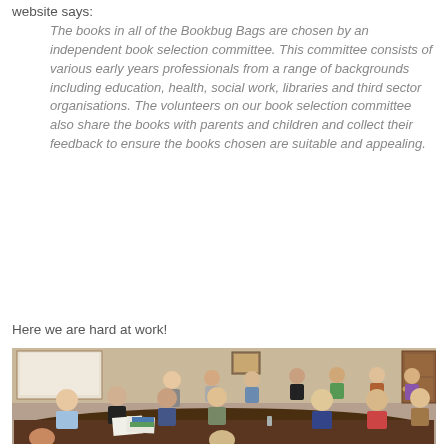website says:
The books in all of the Bookbug Bags are chosen by an independent book selection committee. This committee consists of various early years professionals from a range of backgrounds including education, health, social work, libraries and third sector organisations. The volunteers on our book selection committee also share the books with parents and children and collect their feedback to ensure the books chosen are suitable and appealing.
Here we are hard at work!
[Figure (photo): Group photo of people sitting around a large meeting table in a wood-panelled room, appearing to be a book selection committee meeting.]